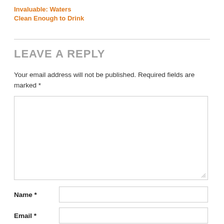Invaluable: Waters Clean Enough to Drink
LEAVE A REPLY
Your email address will not be published. Required fields are marked *
[Figure (other): Empty comment textarea input box]
Name *
Email *